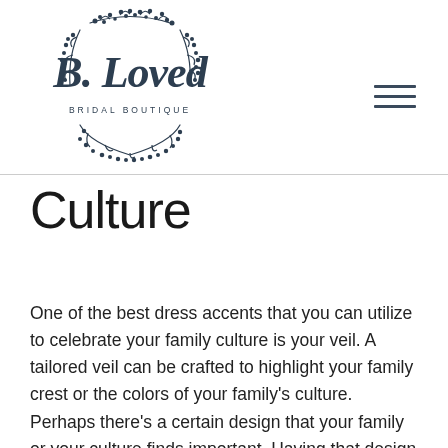[Figure (logo): B. Loved Bridal Boutique logo with decorative botanical wreath and script lettering]
Culture
One of the best dress accents that you can utilize to celebrate your family culture is your veil. A tailored veil can be crafted to highlight your family crest or the colors of your family's culture. Perhaps there's a certain design that your family or your culture finds important. Having that design stitched onto your veil